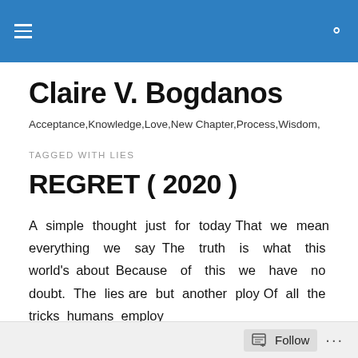Claire V. Bogdanos — site header navigation bar
Claire V. Bogdanos
Acceptance,Knowledge,Love,New Chapter,Process,Wisdom,
TAGGED WITH LIES
REGRET ( 2020 )
A simple thought just for today That we mean everything we say The truth is what this world's about Because of this we have no doubt. The lies are but another ploy Of all the tricks humans employ
Follow